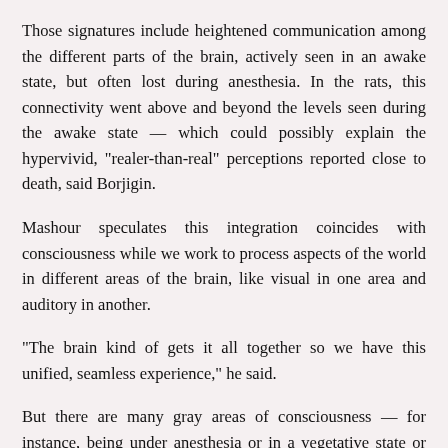Those signatures include heightened communication among the different parts of the brain, actively seen in an awake state, but often lost during anesthesia. In the rats, this connectivity went above and beyond the levels seen during the awake state — which could possibly explain the hypervivid, "realer-than-real" perceptions reported close to death, said Borjigin.
Mashour speculates this integration coincides with consciousness while we work to process aspects of the world in different areas of the brain, like visual in one area and auditory in another.
“The brain kind of gets it all together so we have this unified, seamless experience,” he said.
But there are many gray areas of consciousness — for instance, being under anesthesia or in a vegetative state or seizing — and scientists are still trying to pin down a clear-cut electrical marker of consciousness.
“We don’t have any rough and ready way to take a